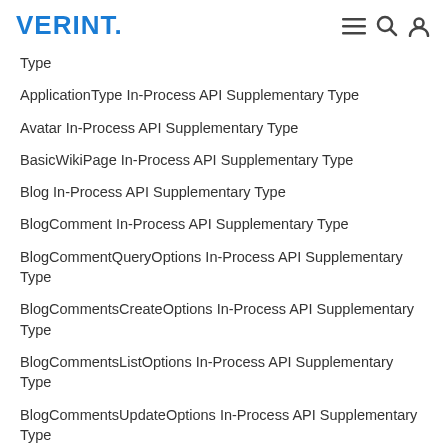VERINT.
Type
ApplicationType In-Process API Supplementary Type
Avatar In-Process API Supplementary Type
BasicWikiPage In-Process API Supplementary Type
Blog In-Process API Supplementary Type
BlogComment In-Process API Supplementary Type
BlogCommentQueryOptions In-Process API Supplementary Type
BlogCommentsCreateOptions In-Process API Supplementary Type
BlogCommentsListOptions In-Process API Supplementary Type
BlogCommentsUpdateOptions In-Process API Supplementary Type
BlogContactListOptions In-Process API Supplementary Type
BlogContactRequest In-Process API Supplementary Type
BlogPost In-Process API Supplementary Type
BlogPostsCreateOptions In-Process API Supplementary Type
BlogPostsGetOptions In-Process API Supplementary Type